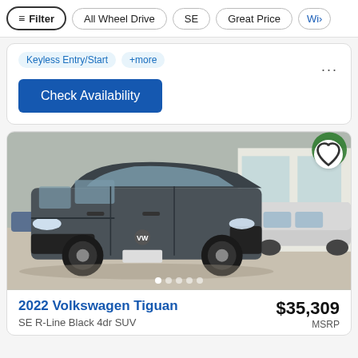Filter | All Wheel Drive | SE | Great Price | Wi>
Keyless Entry/Start  +more
Check Availability
[Figure (photo): Gray 2022 Volkswagen Tiguan SE R-Line Black 4dr SUV parked in a dealership lot, front 3/4 view, with a white heart/favorite icon button in top-right corner and dot navigation indicators at the bottom.]
2022 Volkswagen Tiguan
SE R-Line Black 4dr SUV
$35,309
MSRP